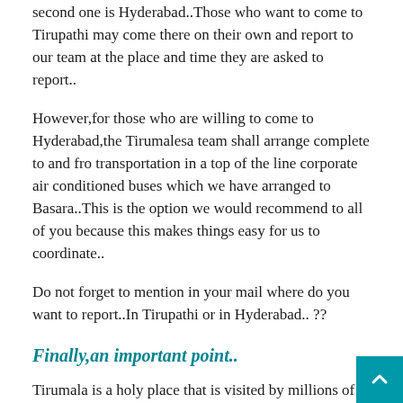second one is Hyderabad..Those who want to come to Tirupathi may come there on their own and report to our team at the place and time they are asked to report..
However,for those who are willing to come to Hyderabad,the Tirumalesa team shall arrange complete to and fro transportation in a top of the line corporate air conditioned buses which we have arranged to Basara..This is the option we would recommend to all of you because this makes things easy for us to coordinate..
Do not forget to mention in your mail where do you want to report..In Tirupathi or in Hyderabad.. ??
Finally,an important point..
Tirumala is a holy place that is visited by millions of people every year..Hence we need to meticulously plan each and